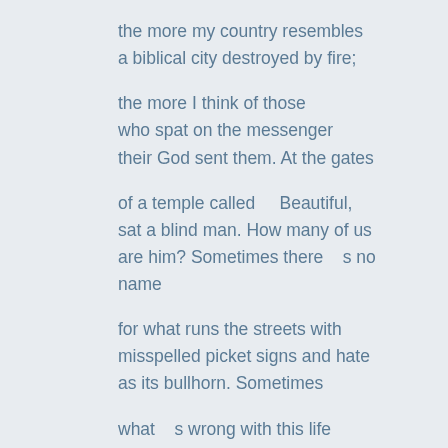the more my country resembles
a biblical city destroyed by fire;

the more I think of those
who spat on the messenger
their God sent them. At the gates

of a temple called    Beautiful,
sat a blind man. How many of us
are him? Sometimes there    s no name

for what runs the streets with
misspelled picket signs and hate
as its bullhorn. Sometimes

what    s wrong with this life
could be an avalanche ready
to wipe us out. The only true Bible

might be your open arms. Your name
is a communion wafer on my tongue.
The only true psalm might be